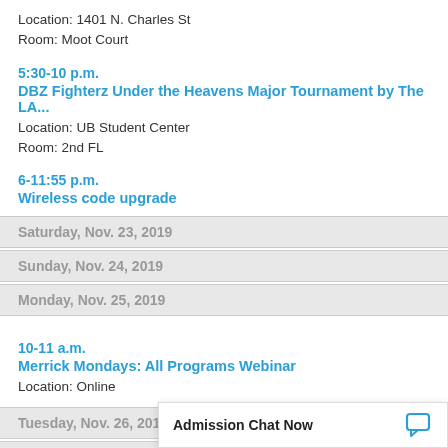Location: 1401 N. Charles St
Room: Moot Court
5:30-10 p.m.
DBZ Fighterz Under the Heavens Major Tournament by The LA...
Location: UB Student Center
Room: 2nd FL
6-11:55 p.m.
Wireless code upgrade
Saturday, Nov. 23, 2019
Sunday, Nov. 24, 2019
Monday, Nov. 25, 2019
10-11 a.m.
Merrick Mondays: All Programs Webinar
Location: Online
Tuesday, Nov. 26, 2019
Wednesday, Nov. 27, 20
Admission Chat Now